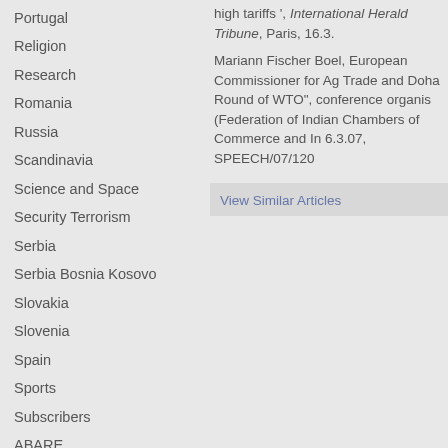Portugal
Religion
Research
Romania
Russia
Scandinavia
Science and Space
Security Terrorism
Serbia
Serbia Bosnia Kosovo
Slovakia
Slovenia
Spain
Sports
Subscribers
ABARE
Agforce
Agforceqld2
Agribusiness
Agriwest
Anhealthall
high tariffs , International Herald Tribune, Paris, 16.3...
Mariann Fischer Boel, European Commissioner for Ag Trade and Doha Round of WTO", conference organis (Federation of Indian Chambers of Commerce and In 6.3.07, SPEECH/07/120
View Similar Articles